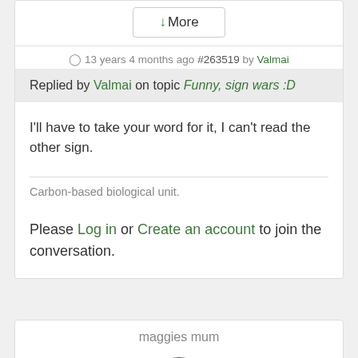↓More
13 years 4 months ago #263519 by Valmai
Replied by Valmai on topic Funny, sign wars :D
I'll have to take your word for it, I can't read the other sign.
Carbon-based biological unit.
Please Log in or Create an account to join the conversation.
maggies mum